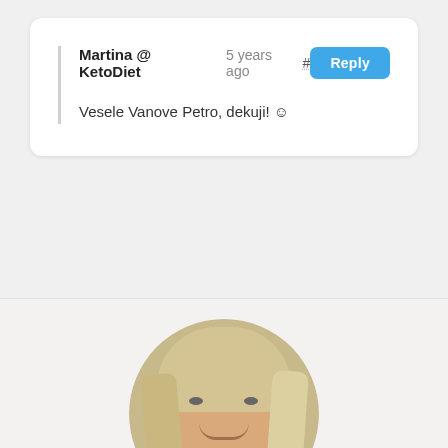Martina @ KetoDiet   5 years ago #   Reply
Vesele Vanove Petro, dekuji! ☺
[Figure (photo): Circular profile photo of a blonde woman, partially visible at the bottom of the page]